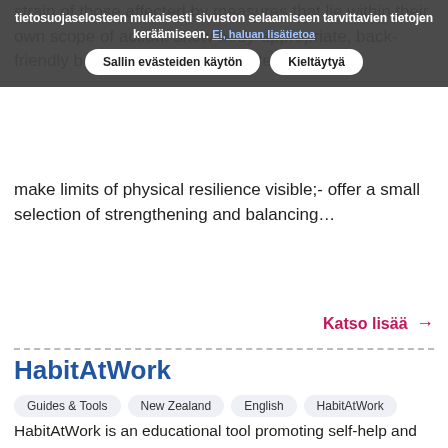tietosuojaselosteen mukaisesti sivuston selaamiseen tarvittavien tietojen keräämiseen. Ei, haluan lisätietoa
Sallin evästeiden käytön   Kieltäytyä
make limits of physical resilience visible;- offer a small selection of strengthening and balancing…
Katso lisää →
HabitAtWork
Guides & Tools   New Zealand   English   HabitAtWork
HabitAtWork is an educational tool promoting self-help and problem solving for preventing and managing discomfort, pain and injury. This tool is intended to prevent and manage discomfort, pain and injury in the industrial environment.